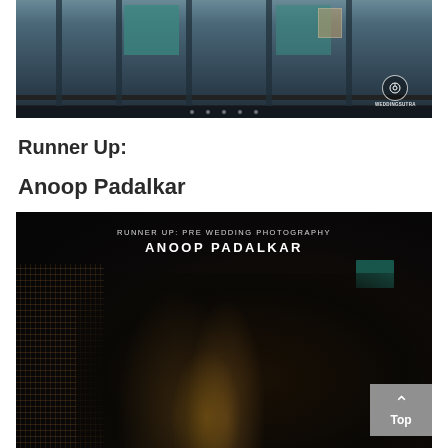[Figure (photo): A photograph of a building balcony/railing with teal shuttered windows, people visible through the balcony railings, with WeddingSutra Photography Awards watermark in the bottom right corner]
Runner Up:
Anoop Padalkar
[Figure (photo): Award announcement photograph for Runner Up: Pre Wedding Photography by Anoop Padalkar, showing a couple in a romantic pose against a dark background with a dramatic grid/lattice pattern on the left side and teal accent in the background. A 'Top' navigation button appears in the bottom right corner.]